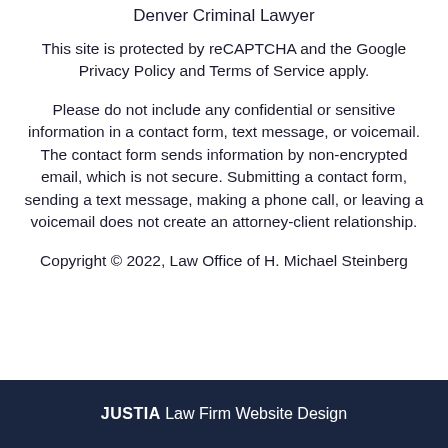Denver Criminal Lawyer
This site is protected by reCAPTCHA and the Google Privacy Policy and Terms of Service apply.
Please do not include any confidential or sensitive information in a contact form, text message, or voicemail. The contact form sends information by non-encrypted email, which is not secure. Submitting a contact form, sending a text message, making a phone call, or leaving a voicemail does not create an attorney-client relationship.
Copyright © 2022, Law Office of H. Michael Steinberg
JUSTIA Law Firm Website Design